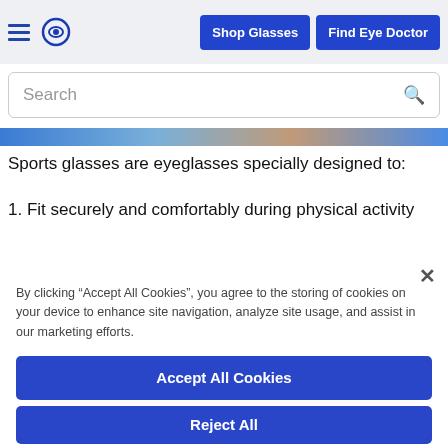Shop Glasses | Find Eye Doctor
Search
[Figure (photo): Blue image strip showing person wearing sports glasses]
Sports glasses are eyeglasses specially designed to:
1. Fit securely and comfortably during physical activity
By clicking “Accept All Cookies”, you agree to the storing of cookies on your device to enhance site navigation, analyze site usage, and assist in our marketing efforts.
Accept All Cookies
Reject All